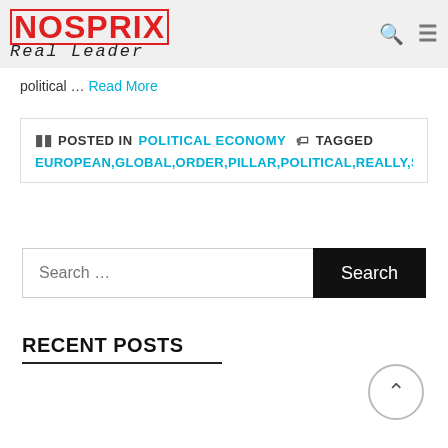NOSPRIX Real Leader
political … Read More
POSTED IN POLITICAL ECONOMY  TAGGED  EUROPEAN,GLOBAL,ORDER,PILLAR,POLITICAL,REALLY,STABILITY
Search ...
RECENT POSTS
Top 3 Best Law Firms in Indonesia